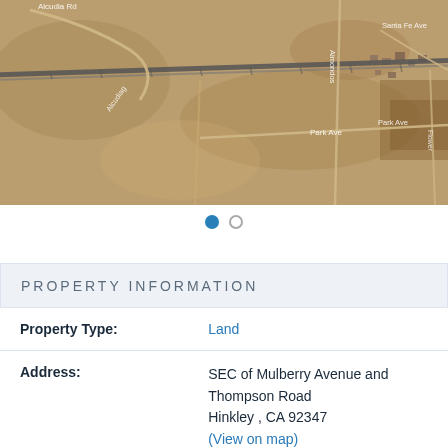[Figure (map): Aerial satellite map view of land area near Mulberry Avenue and Thompson Road, Hinkley CA. Shows roads including Alcudia Rd, Park Ave, Santa Fe Ave, and a diagonal railway line crossing the desert terrain.]
PROPERTY INFORMATION
| Field | Value |
| --- | --- |
| Property Type: | Land |
| Address: | SEC of Mulberry Avenue and Thompson Road
Hinkley , CA 92347
(View on map) |